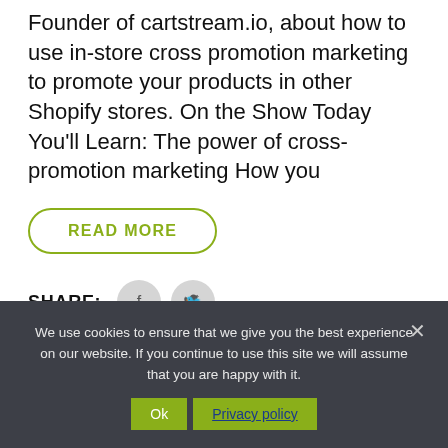Founder of cartstream.io, about how to use in-store cross promotion marketing to promote your products in other Shopify stores. On the Show Today You'll Learn: The power of cross-promotion marketing How you
READ MORE
SHARE:
[Figure (illustration): Facebook and Twitter social share icon buttons (circular grey icons)]
We use cookies to ensure that we give you the best experience on our website. If you continue to use this site we will assume that you are happy with it.
Ok   Privacy policy